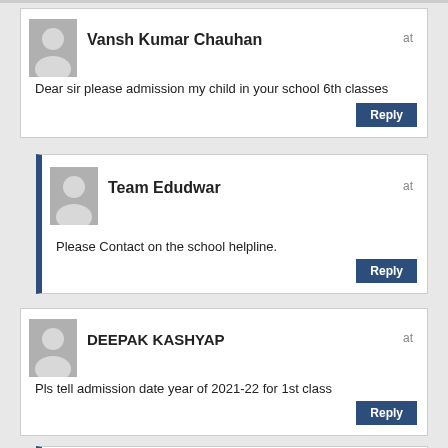Vansh Kumar Chauhan
at
Dear sir please admission my child in your school 6th classes
Reply
Team Edudwar
at
Please Contact on the school helpline.
Reply
DEEPAK KASHYAP
at
Pls tell admission date year of 2021-22 for 1st class
Reply